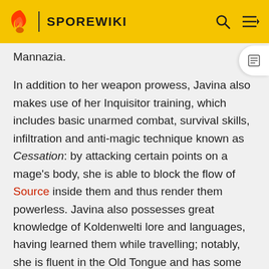SPOREWIKI
Mannazia.
In addition to her weapon prowess, Javina also makes use of her Inquisitor training, which includes basic unarmed combat, survival skills, infiltration and anti-magic technique known as Cessation: by attacking certain points on a mage's body, she is able to block the flow of Source inside them and thus render them powerless. Javina also possesses great knowledge of Koldenwelti lore and languages, having learned them while travelling; notably, she is fluent in the Old Tongue and has some basic knowledge of various magical tongues of the world.